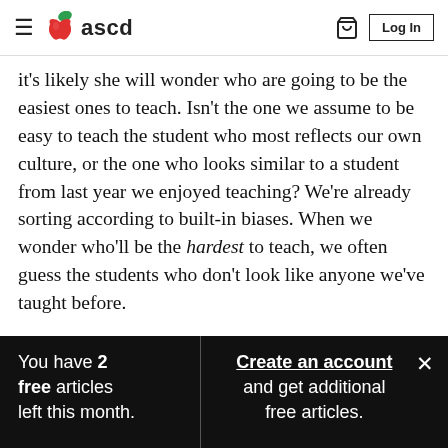ascd
it's likely she will wonder who are going to be the easiest ones to teach. Isn't the one we assume to be easy to teach the student who most reflects our own culture, or the one who looks similar to a student from last year we enjoyed teaching? We're already sorting according to built-in biases. When we wonder who'll be the hardest to teach, we often guess the students who don't look like anyone we've taught before.
You have 2 free articles left this month.
Create an account and get additional free articles.